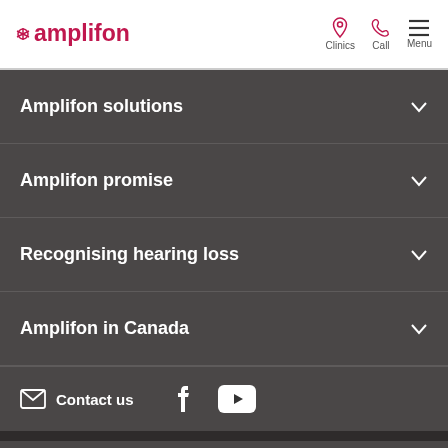amplifon — Clinics | Call | Menu
Amplifon solutions
Amplifon promise
Recognising hearing loss
Amplifon in Canada
Contact us